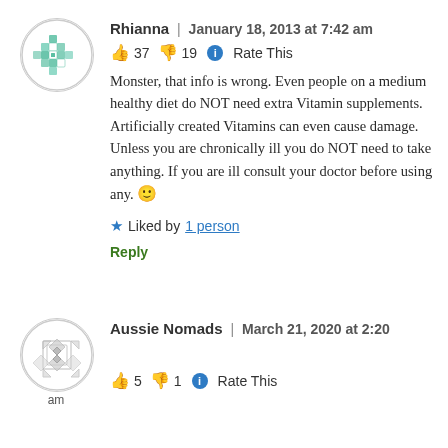[Figure (illustration): Circular avatar with teal/green mosaic cross pattern on white background]
Rhianna | January 18, 2013 at 7:42 am
👍 37 👎 19 ℹ Rate This
Monster, that info is wrong. Even people on a medium healthy diet do NOT need extra Vitamin supplements. Artificially created Vitamins can even cause damage. Unless you are chronically ill you do NOT need to take anything. If you are ill consult your doctor before using any. 🙂
★ Liked by 1 person
Reply
[Figure (illustration): Circular avatar with grey geometric diamond/cross pattern on white background, with text 'am' below]
Aussie Nomads | March 21, 2020 at 2:20 am
👍 5 👎 1 ℹ Rate This